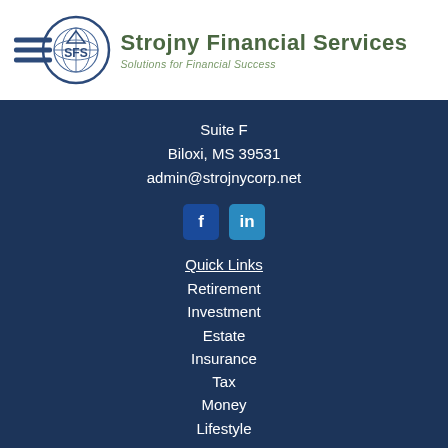[Figure (logo): Strojny Financial Services logo with SFS circular emblem and company name with tagline 'Solutions for Financial Success']
Suite F
Biloxi, MS 39531
admin@strojnycorp.net
[Figure (infographic): Social media icons: Facebook (f) and LinkedIn (in) buttons]
Quick Links
Retirement
Investment
Estate
Insurance
Tax
Money
Lifestyle